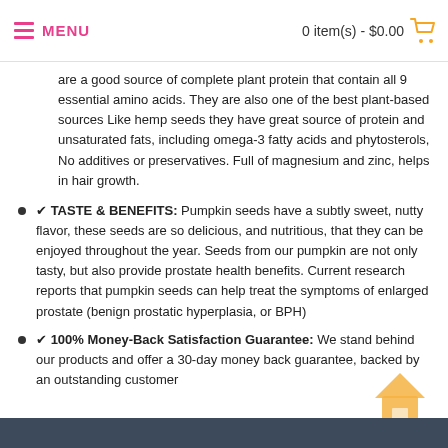MENU   0 item(s) - $0.00
are a good source of complete plant protein that contain all 9 essential amino acids. They are also one of the best plant-based sources Like hemp seeds they have great source of protein and unsaturated fats, including omega-3 fatty acids and phytosterols, No additives or preservatives. Full of magnesium and zinc, helps in hair growth.
✔ TASTE & BENEFITS: Pumpkin seeds have a subtly sweet, nutty flavor, these seeds are so delicious, and nutritious, that they can be enjoyed throughout the year. Seeds from our pumpkin are not only tasty, but also provide prostate health benefits. Current research reports that pumpkin seeds can help treat the symptoms of enlarged prostate (benign prostatic hyperplasia, or BPH)
✔ 100% Money-Back Satisfaction Guarantee: We stand behind our products and offer a 30-day money back guarantee, backed by an outstanding customer